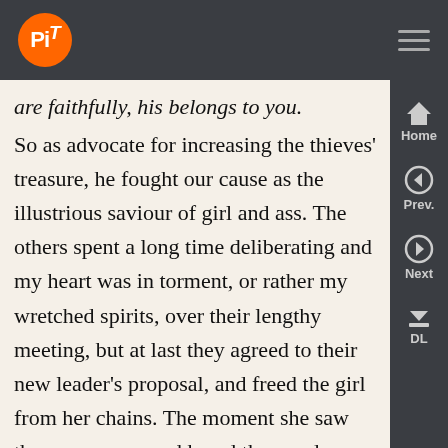PiT logo and navigation bar
are faithfully, his belongs to you.
So as advocate for increasing the thieves' treasure, he fought our cause as the illustrious saviour of girl and ass. The others spent a long time deliberating and my heart was in torment, or rather my wretched spirits, over their lengthy meeting, but at last they agreed to their new leader's proposal, and freed the girl from her chains. The moment she saw the young man and heard the words ‘brothel’ and ‘pimp’ pass his lips she seemed eager, even smiled cheerfully, which led me, naturally, to take a gloomy view of her whole sex. Here was a girl who’d feigned love for